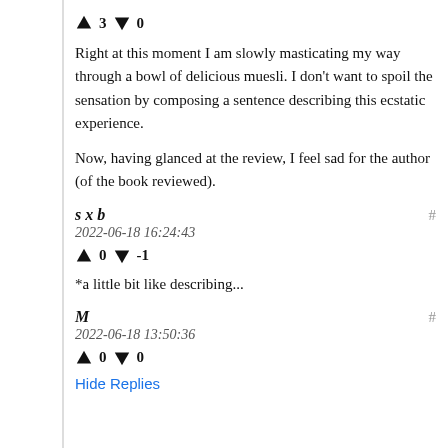↑ 3 ↓ 0
Right at this moment I am slowly masticating my way through a bowl of delicious muesli. I don't want to spoil the sensation by composing a sentence describing this ecstatic experience.
Now, having glanced at the review, I feel sad for the author (of the book reviewed).
sxb
2022-06-18 16:24:43
↑ 0 ↓ -1
*a little bit like describing...
M
2022-06-18 13:50:36
↑ 0 ↓ 0
Hide Replies